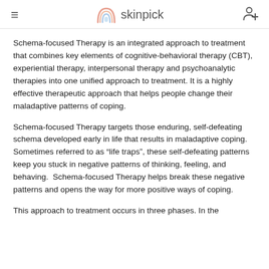skinpick
Schema-focused Therapy is an integrated approach to treatment that combines key elements of cognitive-behavioral therapy (CBT), experiential therapy, interpersonal therapy and psychoanalytic therapies into one unified approach to treatment. It is a highly effective therapeutic approach that helps people change their maladaptive patterns of coping.
Schema-focused Therapy targets those enduring, self-defeating schema developed early in life that results in maladaptive coping. Sometimes referred to as “life traps”, these self-defeating patterns keep you stuck in negative patterns of thinking, feeling, and behaving.  Schema-focused Therapy helps break these negative patterns and opens the way for more positive ways of coping.
This approach to treatment occurs in three phases. In the